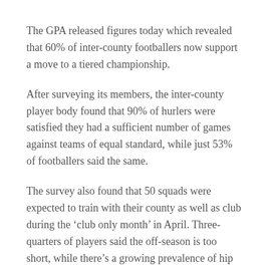The GPA released figures today which revealed that 60% of inter-county footballers now support a move to a tiered championship.
After surveying its members, the inter-county player body found that 90% of hurlers were satisfied they had a sufficient number of games against teams of equal standard, while just 53% of footballers said the same.
The survey also found that 50 squads were expected to train with their county as well as club during the ‘club only month’ in April. Three-quarters of players said the off-season is too short, while there’s a growing prevalence of hip and groin injuries.
“The fixtures conversation is an important one and players are at the heart of it,” said GPA chief executive Paul Flynn.